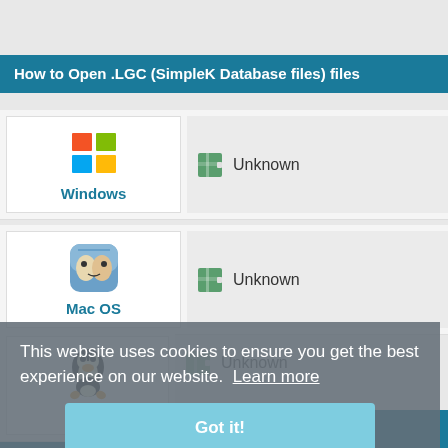How to Open .LGC (SimpleK Database files) files
[Figure (illustration): Windows OS icon with colored flag logo]
Windows
Unknown
[Figure (illustration): Mac OS Finder icon]
Mac OS
Unknown
[Figure (illustration): Linux Tux penguin icon]
Linux
Unknown
This website uses cookies to ensure you get the best experience on our website.  Learn more
Got it!
Additional extension information